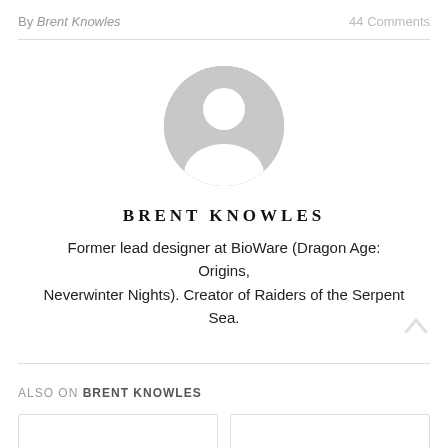By Brent Knowles   44 Comments
[Figure (illustration): Gray circular avatar/profile placeholder icon showing a generic person silhouette]
BRENT KNOWLES
Former lead designer at BioWare (Dragon Age: Origins, Neverwinter Nights). Creator of Raiders of the Serpent Sea.
ALSO ON BRENT KNOWLES